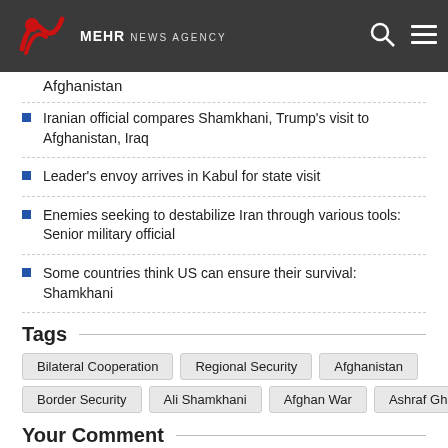MEHR NEWS AGENCY
Afghanistan
Iranian official compares Shamkhani, Trump's visit to Afghanistan, Iraq
Leader's envoy arrives in Kabul for state visit
Enemies seeking to destabilize Iran through various tools: Senior military official
Some countries think US can ensure their survival: Shamkhani
Tags
Bilateral Cooperation, Regional Security, Afghanistan, Border Security, Ali Shamkhani, Afghan War, Ashraf Ghani
Your Comment
Name